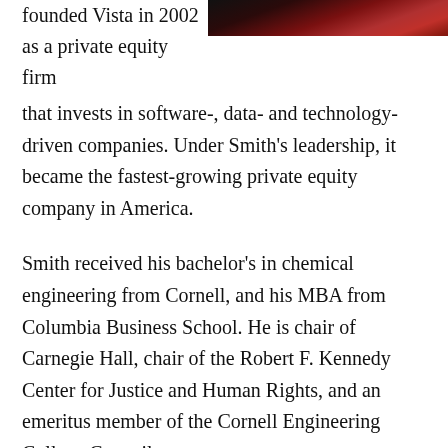[Figure (photo): Portrait photo of a person wearing a dark suit with a red tie, cropped at top of page]
founded Vista in 2002 as a private equity firm that invests in software-, data- and technology-driven companies. Under Smith's leadership, it became the fastest-growing private equity company in America.
Smith received his bachelor's in chemical engineering from Cornell, and his MBA from Columbia Business School. He is chair of Carnegie Hall, chair of the Robert F. Kennedy Center for Justice and Human Rights, and an emeritus member of the Cornell Engineering College Council.
In 2016, Smith and Fund II Foundation gave $50 million to Cornell Engineering to advance teaching and research in chemical and biomolecular engineering and provide